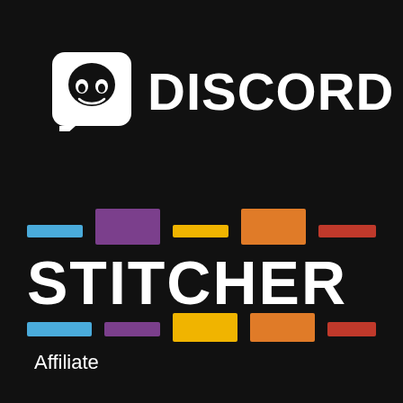[Figure (logo): Discord logo: white rounded square speech bubble icon with a game controller / robot face mask shape, followed by the bold white text DISCORD]
[Figure (logo): Stitcher logo: colorful horizontal bars in blue, purple, yellow, orange, red arranged in two rows above and below the bold white text STITCHER]
Affiliate